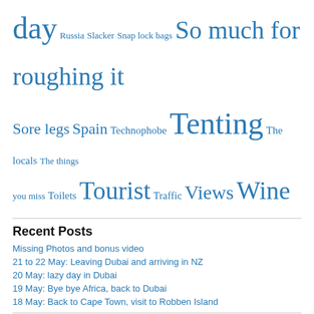day Russia Slacker Snap lock bags So much for roughing it Sore legs Spain Technophobe Tenting The locals The things you miss Toilets Tourist Traffic Views Wine
Recent Posts
Missing Photos and bonus video
21 to 22 May: Leaving Dubai and arriving in NZ
20 May: lazy day in Dubai
19 May: Bye bye Africa, back to Dubai
18 May: Back to Cape Town, visit to Robben Island
Categories
Bulletins (19)
Cycling trip (101)